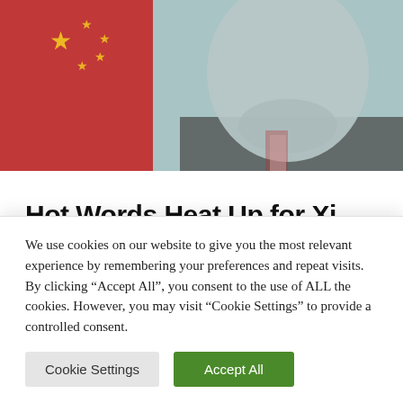[Figure (photo): Photo of Xi Jinping with Chinese flag (red with white stars) in background, rendered in partial color/greyscale halftone style]
Hot Words Heat Up for Xi
AUG 10, 2022 | CMP STAFF
One of the key Xi Jinping power phrases to watch in the weeks ahead of the CCP's 20th National
We use cookies on our website to give you the most relevant experience by remembering your preferences and repeat visits. By clicking “Accept All”, you consent to the use of ALL the cookies. However, you may visit "Cookie Settings" to provide a controlled consent.
Cookie Settings | Accept All